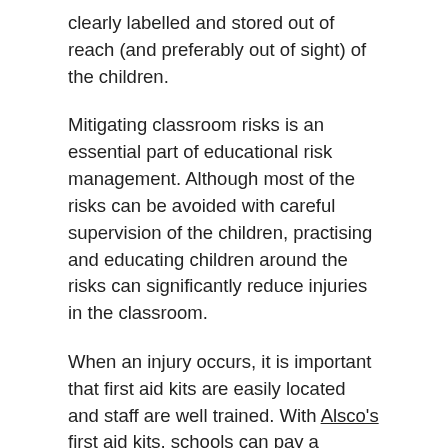clearly labelled and stored out of reach (and preferably out of sight) of the children.
Mitigating classroom risks is an essential part of educational risk management. Although most of the risks can be avoided with careful supervision of the children, practising and educating children around the risks can significantly reduce injuries in the classroom.
When an injury occurs, it is important that first aid kits are easily located and staff are well trained. With Alsco's first aid kits, schools can pay a monthly fee and Alsco will ensure their first aid kits are always well stocked and replenished, with no extra fees required, even if you use all of the items, so you don't have to worry about preparing your first aid kit.
...